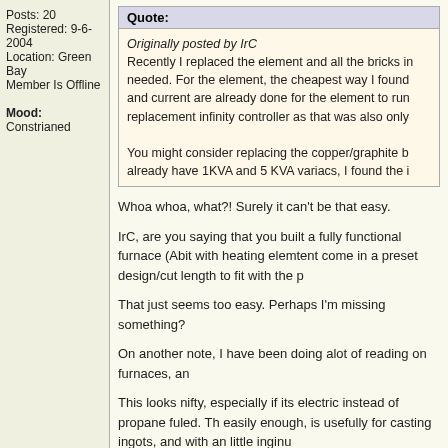Posts: 20
Registered: 9-6-2004
Location: Green Bay
Member Is Offline

Mood: Constrianed
Quote:
Originally posted by IrC
Recently I replaced the element and all the bricks in needed. For the element, the cheapest way I found and current are already done for the element to run replacement infinity controller as that was also only

You might consider replacing the copper/graphite b already have 1KVA and 5 KVA variacs, I found the i
Whoa whoa, what?! Surely it can't be that easy.
IrC, are you saying that you built a fully functional furnace (Abit with heating elemtent come in a preset design/cut length to fit with the p
That just seems too easy. Perhaps I'm missing something?
On another note, I have been doing alot of reading on furnaces, an
This looks nifty, especially if its electric instead of propane fuled. Th easily enough, is usefully for casting ingots, and with an little inginu
Wait for it...